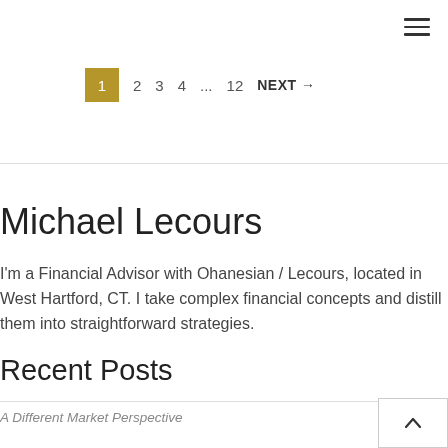[Figure (other): Hamburger menu icon (three horizontal lines) in top right corner]
1  2  3  4  ...  12  NEXT →
Michael Lecours
I'm a Financial Advisor with Ohanesian / Lecours, located in West Hartford, CT. I take complex financial concepts and distill them into straightforward strategies.
Recent Posts
A Different Market Perspective